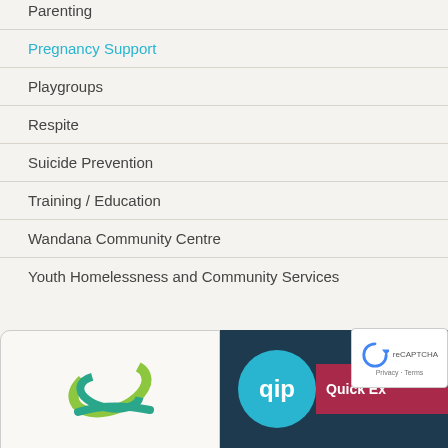Parenting
Pregnancy Support
Playgroups
Respite
Suicide Prevention
Training / Education
Wandana Community Centre
Youth Homelessness and Community Services
[Figure (logo): Green swirl/leaf logo of a community organisation]
[Figure (logo): QIP logo - circle with QIP text on teal background, Quick Ex label on red/maroon background, on dark navy panel]